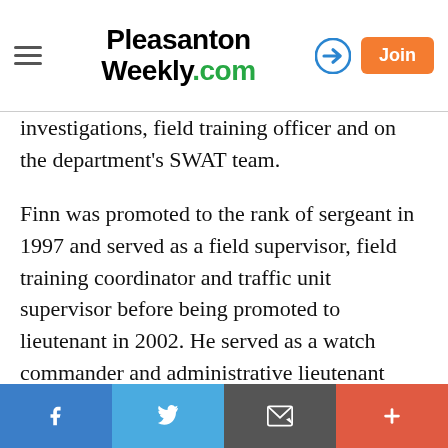Pleasanton Weekly.com
investigations, field training officer and on the department's SWAT team.
Finn was promoted to the rank of sergeant in 1997 and served as a field supervisor, field training coordinator and traffic unit supervisor before being promoted to lieutenant in 2002. He served as a watch commander and administrative lieutenant until 2007 when he was promoted to the rank of captain.
He earned a Bachelor of Arts in management from St. Mary's College and a master's degree in public administration from Cal State Hayward, all while working full-time for the department and raising four children with Karen, his wife of 29...
Facebook | Twitter | Email | +